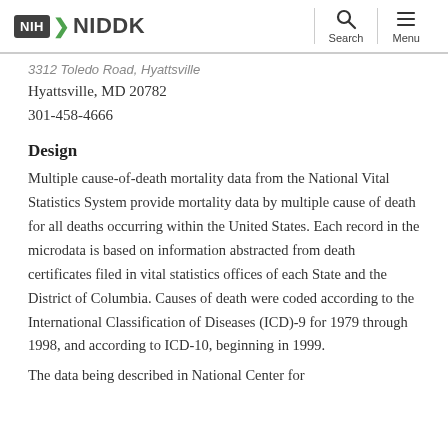NIH NIDDK | Search | Menu
3312 Toledo Road, Hyattsville
Hyattsville, MD 20782
301-458-4666
Design
Multiple cause-of-death mortality data from the National Vital Statistics System provide mortality data by multiple cause of death for all deaths occurring within the United States. Each record in the microdata is based on information abstracted from death certificates filed in vital statistics offices of each State and the District of Columbia. Causes of death were coded according to the International Classification of Diseases (ICD)-9 for 1979 through 1998, and according to ICD-10, beginning in 1999.
The data being described in National Center for